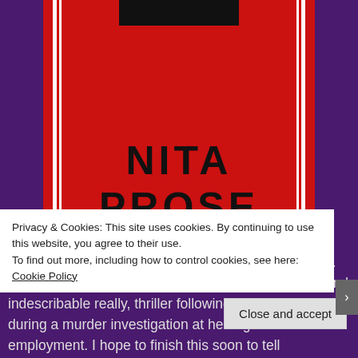[Figure (illustration): Book cover for a thriller by Nita Prose, red background with white border lines and black decorative bar at top, author name 'NITA PROSE' in large black letters]
Stop! Just stop and write on your calendar for 2022... January 4th is the release date for this very unique and indescribable really, thriller following Molly the Maid during a murder investigation at her high end hotel of employment. I hope to finish this soon to tell
Privacy & Cookies: This site uses cookies. By continuing to use this website, you agree to their use.
To find out more, including how to control cookies, see here: Cookie Policy
Close and accept